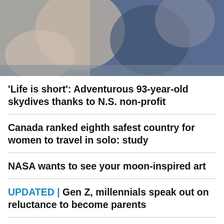[Figure (photo): A close-up photo of a person in a blue jacket with another person, outdoor/action context suggesting skydiving preparation]
'Life is short': Adventurous 93-year-old skydives thanks to N.S. non-profit
Canada ranked eighth safest country for women to travel in solo: study
NASA wants to see your moon-inspired art
UPDATED | Gen Z, millennials speak out on reluctance to become parents
San Diego Zoo penguin fitted with orthopedic